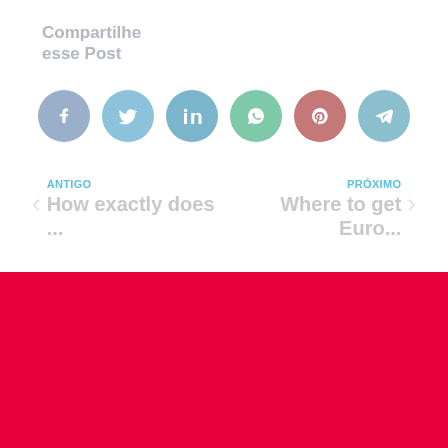Compartilhe esse Post
[Figure (illustration): Row of six social media share buttons: Facebook (blue-grey), Twitter (light blue), LinkedIn (medium blue), WhatsApp (teal-green), Pinterest (rose-red), Telegram (light blue)]
ANTIGO
How exactly does ...
PRÓXIMO
Where to get Euro...
[Figure (illustration): Instagram and Facebook white icons on red background in footer]
Copyright 2022 © Todos os Direitos Reservados
CNPJ 39.028.845/0001-20